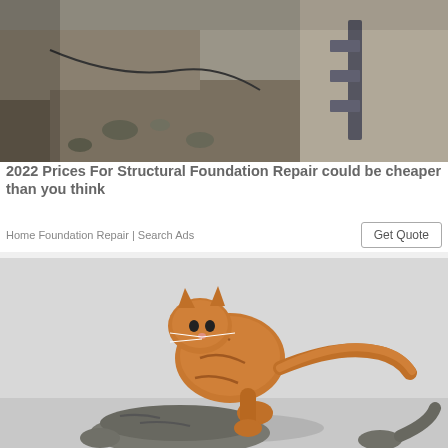[Figure (photo): Foundation repair construction site showing concrete wall, excavation, metal bracket hardware, gravel and debris]
2022 Prices For Structural Foundation Repair could be cheaper than you think
Home Foundation Repair | Search Ads
[Figure (photo): Orange tabby cat leaping or fighting with a striped grey cat on snow-covered ground]